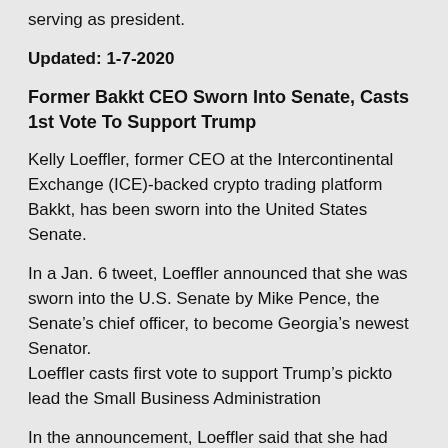serving as president.
Updated: 1-7-2020
Former Bakkt CEO Sworn Into Senate, Casts 1st Vote To Support Trump
Kelly Loeffler, former CEO at the Intercontinental Exchange (ICE)-backed crypto trading platform Bakkt, has been sworn into the United States Senate.
In a Jan. 6 tweet, Loeffler announced that she was sworn into the U.S. Senate by Mike Pence, the Senate’s chief officer, to become Georgia’s newest Senator.
Loeffler casts first vote to support Trump’s pickto lead the Small Business Administration
In the announcement, Loeffler said that she had already cast her first vote to support U.S. President Donald Trump’s pick to lead the Small Business Administration, an autonomous